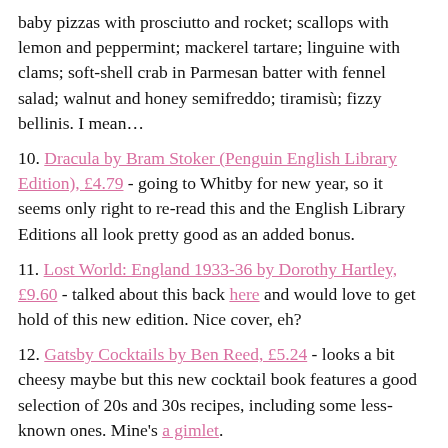baby pizzas with prosciutto and rocket; scallops with lemon and peppermint; mackerel tartare; linguine with clams; soft-shell crab in Parmesan batter with fennel salad; walnut and honey semifreddo; tiramisù; fizzy bellinis. I mean…
10. Dracula by Bram Stoker (Penguin English Library Edition), £4.79 - going to Whitby for new year, so it seems only right to re-read this and the English Library Editions all look pretty good as an added bonus.
11. Lost World: England 1933-36 by Dorothy Hartley, £9.60 - talked about this back here and would love to get hold of this new edition. Nice cover, eh?
12. Gatsby Cocktails by Ben Reed, £5.24 - looks a bit cheesy maybe but this new cocktail book features a good selection of 20s and 30s recipes, including some less-known ones. Mine's a gimlet.
omg:
Tweet
Save
tumblr.